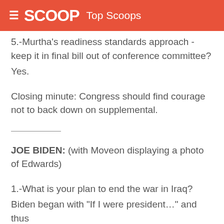≡ SCOOP Top Scoops
5.-Murtha's readiness standards approach - keep it in final bill out of conference committee?
Yes.
Closing minute: Congress should find courage not to back down on supplemental.
——————
JOE BIDEN: (with Moveon displaying a photo of Edwards)
1.-What is your plan to end the war in Iraq?
Biden began with "If I were presidentâ€¦" and thus